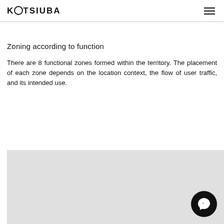KOTSIUBA
Zoning according to function
There are 8 functional zones formed within the territory. The placement of each zone depends on the location context, the flow of user traffic, and its intended use.
[Figure (other): Light grey rectangular image area at the bottom of the page with a Facebook Messenger icon button in the lower right corner.]